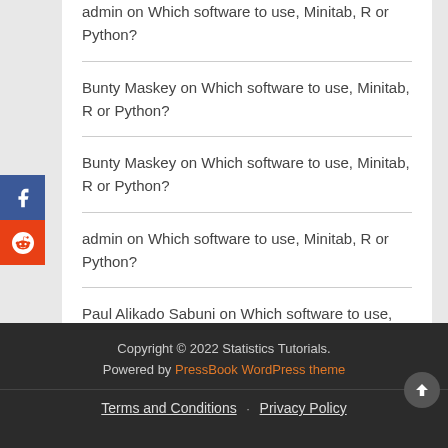admin on Which software to use, Minitab, R or Python?
Bunty Maskey on Which software to use, Minitab, R or Python?
Bunty Maskey on Which software to use, Minitab, R or Python?
admin on Which software to use, Minitab, R or Python?
Paul Alikado Sabuni on Which software to use, Minitab, R or Python?
Copyright © 2022 Statistics Tutorials. Powered by PressBook WordPress theme · Terms and Conditions · Privacy Policy